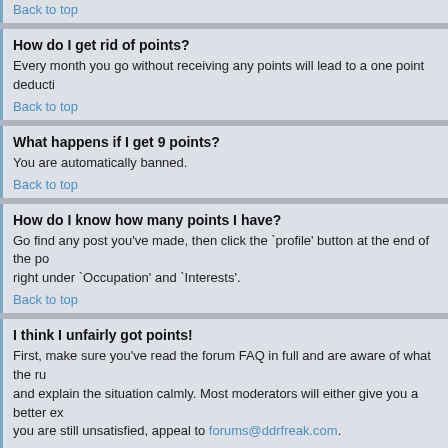Back to top
How do I get rid of points?
Every month you go without receiving any points will lead to a one point deduction.
Back to top
What happens if I get 9 points?
You are automatically banned.
Back to top
How do I know how many points I have?
Go find any post you've made, then click the `profile' button at the end of the post. right under `Occupation' and `Interests'.
Back to top
I think I unfairly got points!
First, make sure you've read the forum FAQ in full and are aware of what the rules are, and explain the situation calmly. Most moderators will either give you a better explanation. If you are still unsatisfied, appeal to forums@ddrfreak.com.
Back to top
Other Common Questions
Why am I a Beginner member? I've been playing DDR for years!
To discourage trolling and general craziness, all new members start as Beginners.